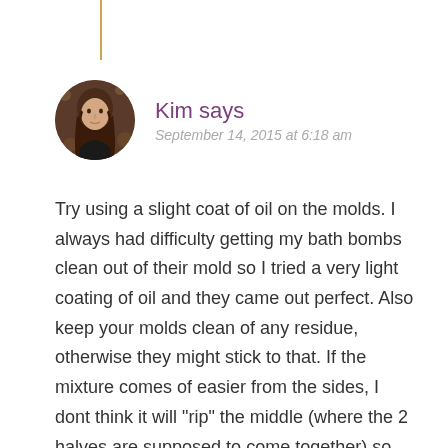[Figure (illustration): Decorative vertical gold/yellow border line at top of page]
Kim says
September 14, 2015 at 6:18 am
[Figure (photo): Circular avatar photo of a young woman with long brown hair against a bokeh background]
Try using a slight coat of oil on the molds. I always had difficulty getting my bath bombs clean out of their mold so I tried a very light coating of oil and they came out perfect. Also keep your molds clean of any residue, otherwise they might stick to that. If the mixture comes of easier from the sides, I dont think it will "rip" the middle (where the 2 halves are supposed to come together) so easy. I do wonder if they will hold once they're out of the mold, if they will collapse...